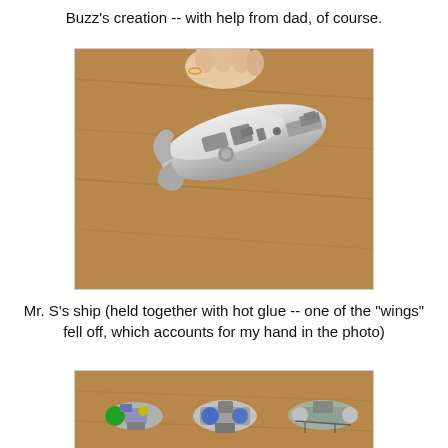Buzz's creation -- with help from dad, of course.
[Figure (photo): A silver metallic toy spaceship or craft held by a hand against a wooden surface. The ship is made of silver/chrome colored pieces assembled together.]
Mr. S's ship (held together with hot glue -- one of the "wings" fell off, which accounts for my hand in the photo)
[Figure (photo): Three small toy spaceships on a wooden surface. The ships are made of colorful pieces including blue, green, yellow and silver/chrome parts.]